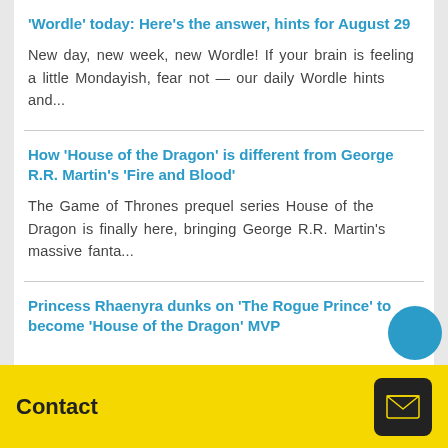'Wordle' today: Here's the answer, hints for August 29
New day, new week, new Wordle! If your brain is feeling a little Mondayish, fear not — our daily Wordle hints and...
How 'House of the Dragon' is different from George R.R. Martin's 'Fire and Blood'
The Game of Thrones prequel series House of the Dragon is finally here, bringing George R.R. Martin's massive fanta...
Princess Rhaenyra dunks on 'The Rogue Prince' to become 'House of the Dragon' MVP
Contact